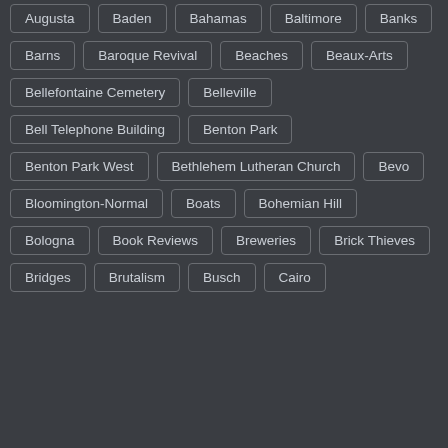Augusta
Baden
Bahamas
Baltimore
Banks
Barns
Baroque Revival
Beaches
Beaux-Arts
Bellefontaine Cemetery
Belleville
Bell Telephone Building
Benton Park
Benton Park West
Bethlehem Lutheran Church
Bevo
Bloomington-Normal
Boats
Bohemian Hill
Bologna
Book Reviews
Breweries
Brick Thieves
Bridges
Brutalism
Busch
Cairo